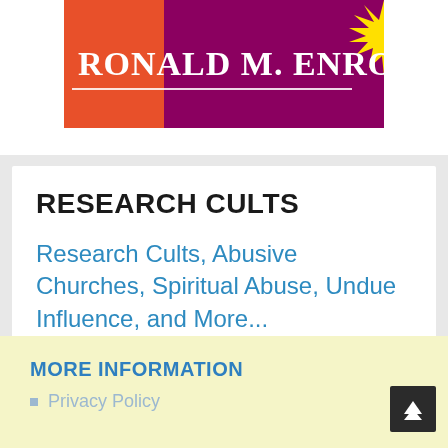[Figure (illustration): Book cover image showing 'Ronald M. Enroth' text on a purple/magenta and orange/red background with a sun burst graphic in yellow]
RESEARCH CULTS
Research Cults, Abusive Churches, Spiritual Abuse, Undue Influence, and More...
MORE INFORMATION
Privacy Policy